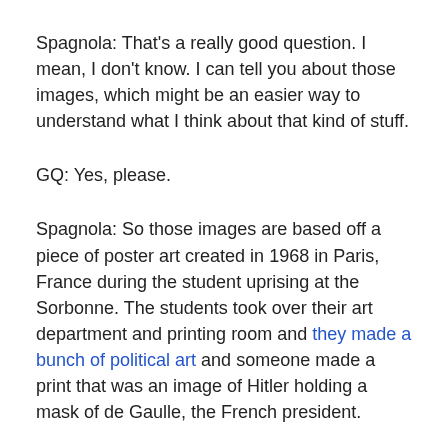Spagnola: That's a really good question. I mean, I don't know. I can tell you about those images, which might be an easier way to understand what I think about that kind of stuff.
GQ: Yes, please.
Spagnola: So those images are based off a piece of poster art created in 1968 in Paris, France during the student uprising at the Sorbonne. The students took over their art department and printing room and they made a bunch of political art and someone made a print that was an image of Hitler holding a mask of de Gaulle, the French president.